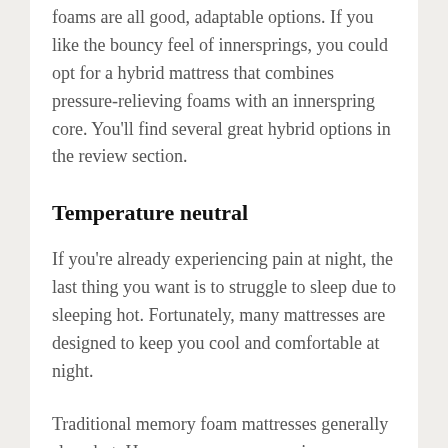foams are all good, adaptable options. If you like the bouncy feel of innersprings, you could opt for a hybrid mattress that combines pressure-relieving foams with an innerspring core. You'll find several great hybrid options in the review section.
Temperature neutral
If you're already experiencing pain at night, the last thing you want is to struggle to sleep due to sleeping hot. Fortunately, many mattresses are designed to keep you cool and comfortable at night.
Traditional memory foam mattresses generally sleep hot. However, many companies use features such as open cell